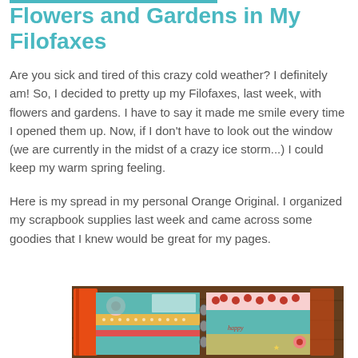Flowers and Gardens in My Filofaxes
Are you sick and tired of this crazy cold weather? I definitely am! So, I decided to pretty up my Filofaxes, last week, with flowers and gardens. I have to say it made me smile every time I opened them up. Now, if I don't have to look out the window (we are currently in the midst of a crazy ice storm...) I could keep my warm spring feeling.
Here is my spread in my personal Orange Original.  I organized my scrapbook supplies last week and came across some goodies that I knew would be great for my pages.
[Figure (photo): Photo of an open Filofax planner decorated with floral scrapbook supplies including colorful patterned papers, flower stickers, washi tape, and decorative elements in teal, yellow, red and pink colors, placed on a wooden surface.]